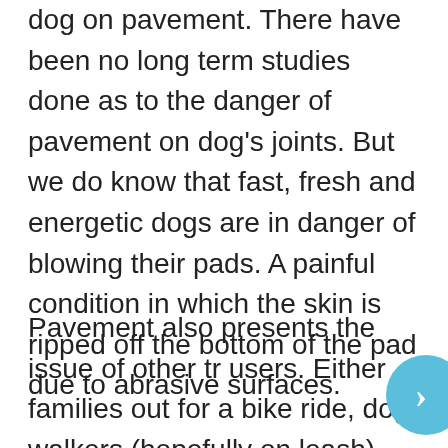dog on pavement. There have been no long term studies done as to the danger of pavement on dog's joints. But we do know that fast, fresh and energetic dogs are in danger of blowing their pads. A painful condition in which the skin is ripped off the bottom of the pad due to abrasive surfaces.
Pavement also presents the issue of other tr users. Either families out for a bike ride, dog walkers (hopefully on leash) and cyclists. The more traffic, the more potential for problems. Dirt trails through the woods are worth the drive and present fewer problems.